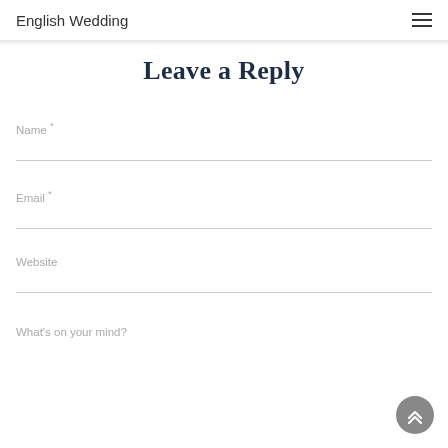English Wedding
Leave a Reply
Name *
Email *
Website
What's on your mind?